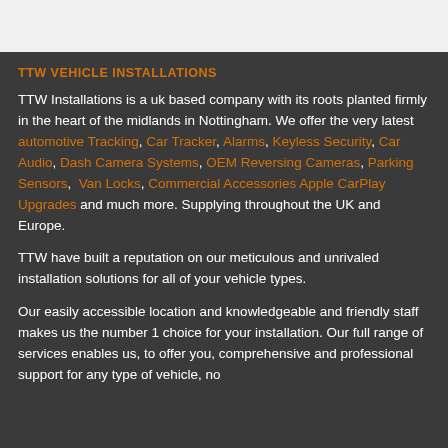TTW VEHICLE INSTALLATIONS
TTW Installations is a uk based company with its roots planted firmly in the heart of the midlands in Nottingham. We offer the very latest automotive Tracking, Car Tracker, Alarms, Keyless Security, Car Audio, Dash Camera Systems, OEM Reversing Cameras, Parking Sensors, Van Locks, Commercial Accessories Apple CarPlay Upgrades and much more. Supplying throughout the UK and Europe.
TTW have built a reputation on our meticulous and unrivaled installation solutions for all of your vehicle types.
Our easily accessible location and knowledgeable and friendly staff makes us the number 1 choice for your installation. Our full range of services enables us, to offer you, comprehensive and professional support for any type of vehicle, no